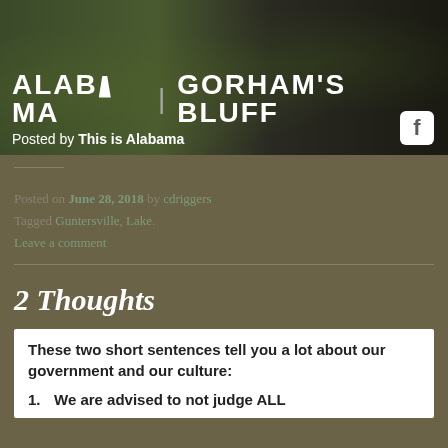[Figure (photo): Banner image with text overlay showing 'ALABAMA | GORHAM'S BLUFF' with outdoor/nature background and Facebook icon. Text 'Posted by This is Alabama' at bottom left.]
Posted on June 28, 2018 by cdriggers
Tagged Guntersville, Lake.
Leave a comment
2 Thoughts
These two short sentences tell you a lot about our government and our culture:
1. We are advised to not judge ALL